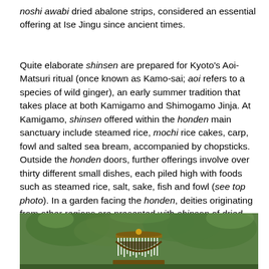noshi awabi dried abalone strips, considered an essential offering at Ise Jingu since ancient times.
Quite elaborate shinsen are prepared for Kyoto's Aoi-Matsuri ritual (once known as Kamo-sai; aoi refers to a species of wild ginger), an early summer tradition that takes place at both Kamigamo and Shimogamo Jinja. At Kamigamo, shinsen offered within the honden main sanctuary include steamed rice, mochi rice cakes, carp, fowl and salted sea bream, accompanied by chopsticks. Outside the honden doors, further offerings involve over thirty different small dishes, each piled high with foods such as steamed rice, salt, sake, fish and fowl (see top photo). In a garden facing the honden, deities originating from other regions are presented with shinsen of dried salmon, dried squid, wakame seaweed, aonori seaweed and salt, all in a vermillion lacquer box (see photo below).
[Figure (photo): A photograph showing a traditional Japanese decorative ceremonial structure or portable shrine (mikoshi) adorned with many hanging white decorations, surrounded by green trees.]